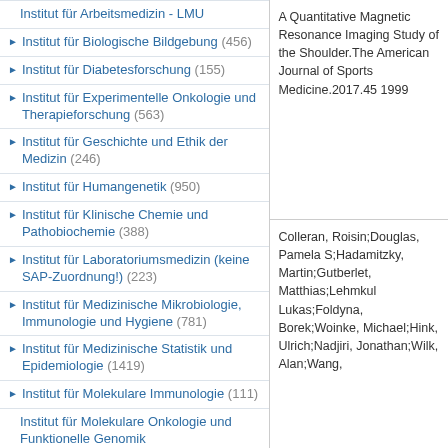Institut für Arbeitsmedizin - LMU
Institut für Biologische Bildgebung (456)
Institut für Diabetesforschung (155)
Institut für Experimentelle Onkologie und Therapieforschung (563)
Institut für Geschichte und Ethik der Medizin (246)
Institut für Humangenetik (950)
Institut für Klinische Chemie und Pathobiochemie (388)
Institut für Laboratoriumsmedizin (keine SAP-Zuordnung!) (223)
Institut für Medizinische Mikrobiologie, Immunologie und Hygiene (781)
Institut für Medizinische Statistik und Epidemiologie (1419)
Institut für Molekulare Immunologie (111)
Institut für Molekulare Onkologie und Funktionelle Genomik
Institut für Neurowissenschaften (192)
Institut für Pharmakologie und Toxikologie (462)
Institut für Radiologie (3057)
Fachgebiet Neuroradiologie (Prof.
A Quantitative Magnetic Resonance Imaging Study of the Shoulder.The American Journal of Sports Medicine.2017.45 1999
Colleran, Roisin;Douglas, Pamela S;Hadamitzky, Martin;Gutberlet, Matthias;Lehmkul Lukas;Foldyna, Borek;Woinke, Michael;Hink, Ulrich;Nadjiri, Jonathan;Wilk, Alan;Wang,